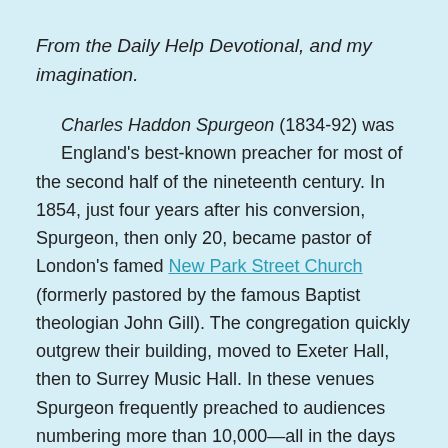From the Daily Help Devotional, and my imagination.
Charles Haddon Spurgeon (1834-92) was England’s best-known preacher for most of the second half of the nineteenth century. In 1854, just four years after his conversion, Spurgeon, then only 20, became pastor of London’s famed New Park Street Church (formerly pastored by the famous Baptist theologian John Gill). The congregation quickly outgrew their building, moved to Exeter Hall, then to Surrey Music Hall. In these venues Spurgeon frequently preached to audiences numbering more than 10,000—all in the days before electronic amplification. In 1861 the congregation moved